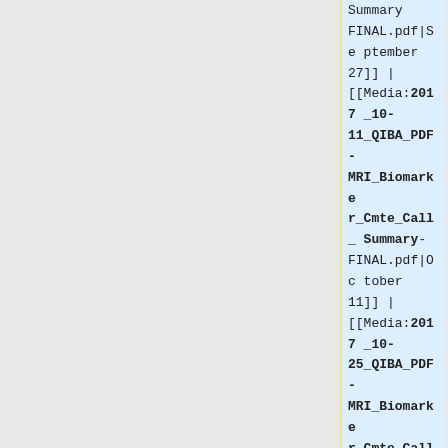Summary FINAL.pdf|September 27]] | [[Media:2017_10-11_QIBA_PDF-MRI_Biomarker_Cmte_Call_Summary-FINAL.pdf|October 11]] | [[Media:2017_10-25_QIBA_PDF-MRI_Biomarker_Cmte_Call_Summary-FINAL.pdf|October 25]] | [[Media:2017_12-